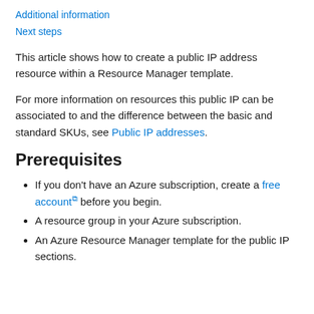Additional information
Next steps
This article shows how to create a public IP address resource within a Resource Manager template.
For more information on resources this public IP can be associated to and the difference between the basic and standard SKUs, see Public IP addresses.
Prerequisites
If you don't have an Azure subscription, create a free account before you begin.
A resource group in your Azure subscription.
An Azure Resource Manager template for the public IP sections.